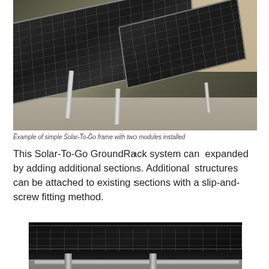[Figure (photo): Photo of a Solar-To-Go frame with two solar modules installed on metal legs, angled upward, outdoors on a concrete surface with a building wall in the background.]
Example of simple Solar-To-Go frame with two modules installed
This Solar-To-Go GroundRack system can  expanded by adding additional sections. Additional  structures can be attached to existing sections with a slip-and-screw fitting method.
[Figure (photo): Close-up photo of solar panels mounted on a metal rack structure, viewed from the side at ground level.]